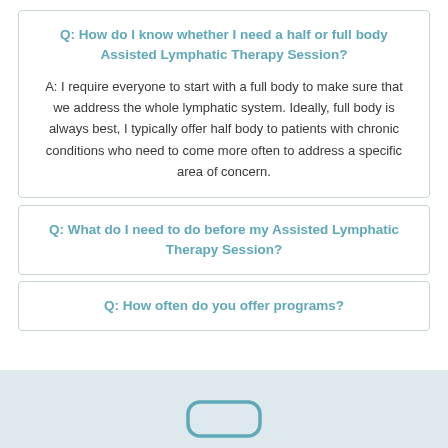Q: How do I know whether I need a half or full body Assisted Lymphatic Therapy Session?
A: I require everyone to start with a full body to make sure that we address the whole lymphatic system. Ideally, full body is always best, I typically offer half body to patients with chronic conditions who need to come more often to address a specific area of concern.
Q: What do I need to do before my Assisted Lymphatic Therapy Session?
Q: How often do you offer programs?